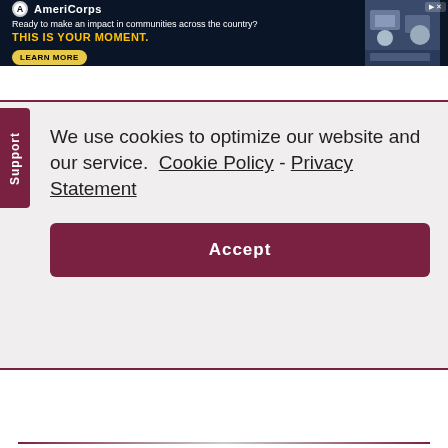[Figure (screenshot): AmeriCorps advertisement banner with dark navy background. Shows AmeriCorps logo, tagline 'Ready to make an impact in communities across the country?', bold yellow text 'THIS IS YOUR MOMENT.', a 'LEARN MORE' button, and a photo of people at computers on the right.]
[Figure (screenshot): Thumbnail strip showing a back/up arrow button, a Bragg Organic Apple Cider Vinegar bottle image, and a photo of women with text 'INSPIRED'.]
We use cookies to optimize our website and our service.  Cookie Policy  -  Privacy Statement
[Figure (screenshot): Accept button for cookie consent, dark maroon/burgundy color with white text 'Accept'.]
[Figure (screenshot): Black button with playlist icon and text 'SEE MORE PLAYLISTS'.]